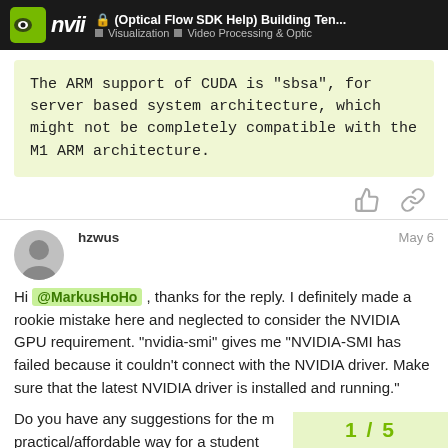(Optical Flow SDK Help) Building Ten... | Visualization | Video Processing & Optic
The ARM support of CUDA is “sbsa”, for server based system architecture, which might not be completely compatible with the M1 ARM architecture.
hzwus  May 6
Hi @MarkusHoHo , thanks for the reply. I definitely made a rookie mistake here and neglected to consider the NVIDIA GPU requirement. “nvidia-smi” gives me “NVIDIA-SMI has failed because it couldn’t connect with the NVIDIA driver. Make sure that the latest NVIDIA driver is installed and running."

Do you have any suggestions for the m
practical/affordable way for a student